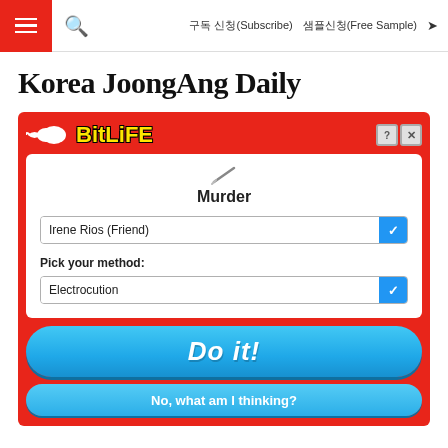구독 신청(Subscribe)  샘플신청(Free Sample)
Korea JoongAng Daily
[Figure (screenshot): BitLife app advertisement showing a 'Murder' screen with dropdown selections for 'Irene Rios (Friend)' and method 'Electrocution', with 'Do it!' and 'No, what am I thinking?' buttons on red background]